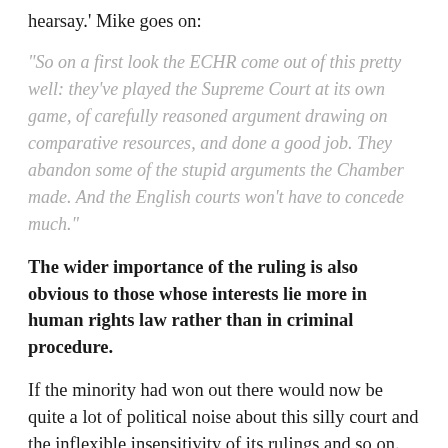hearsay.' Mike goes on:
"So on a first look the ECHR come out of this pretty well: they've played the Supreme Court at its own game, of carefully reasoned argument drawing on comparative resources, and done a good job. They abandon some of the stupid arguments the Chamber made. And the English courts won't have to concede much."
The wider importance of the ruling is also obvious to those whose interests lie more in human rights law rather than in criminal procedure.
If the minority had won out there would now be quite a lot of political noise about this silly court and the inflexible insensitivity of its rulings and so on. (Accused persons escaping justice through reliance on the death of their victims or their terrified refusal to testify are rarely the most attractive of characters.) It's a relief not to be having to listen to all those